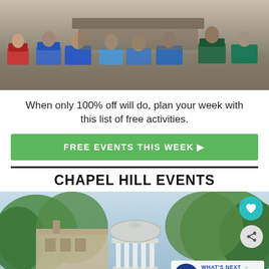[Figure (photo): Overhead/crowd view of people sitting in folding/camping chairs at an outdoor event, viewed from behind.]
When only 100% off will do, plan your week with this list of free activities.
FREE EVENTS THIS WEEK ▶
CHAPEL HILL EVENTS
[Figure (photo): The Old Well rotunda at UNC Chapel Hill, a white domed structure with columns, surrounded by green trees. Floating heart and share icons overlay the top right. A 'What's Next' card in the bottom right shows a 'Have Fun Be Cheap' badge and text '2021 Winter Open House...']
SHE CAN STEM